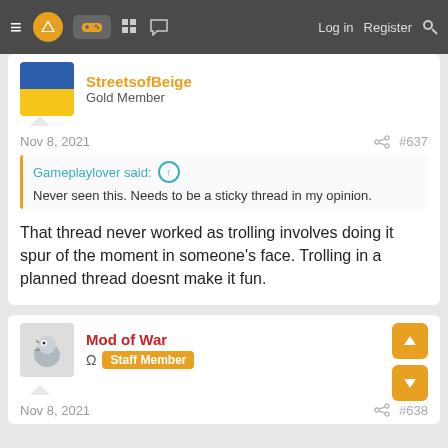≡ [logo] [gamepad] [grid] [chat]   Log in  Register  🔍
StreetsofBeige
Gold Member
Nov 8, 2021  #637
Gameplaylover said: ↑
Never seen this. Needs to be a sticky thread in my opinion.
That thread never worked as trolling involves doing it spur of the moment in someone's face. Trolling in a planned thread doesnt make it fun.
Mod of War
Ω Staff Member
Nov 8, 2021  #638